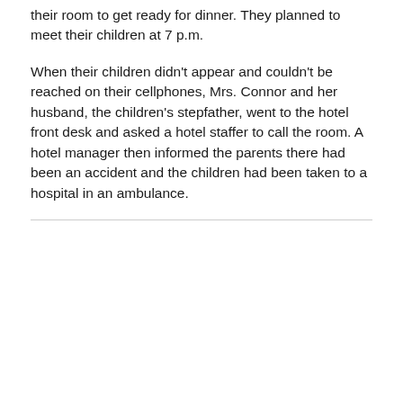their room to get ready for dinner. They planned to meet their children at 7 p.m.
When their children didn't appear and couldn't be reached on their cellphones, Mrs. Connor and her husband, the children's stepfather, went to the hotel front desk and asked a hotel staffer to call the room. A hotel manager then informed the parents there had been an accident and the children had been taken to a hospital in an ambulance.